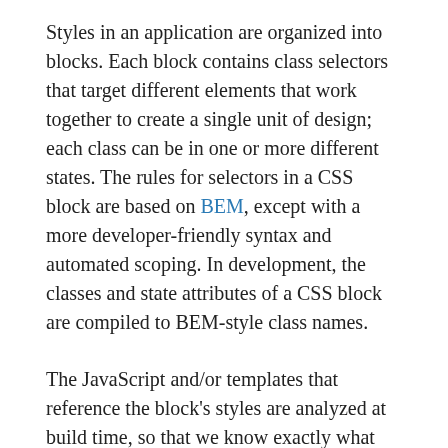Styles in an application are organized into blocks. Each block contains class selectors that target different elements that work together to create a single unit of design; each class can be in one or more different states. The rules for selectors in a CSS block are based on BEM, except with a more developer-friendly syntax and automated scoping. In development, the classes and state attributes of a CSS block are compiled to BEM-style class names.
The JavaScript and/or templates that reference the block's styles are analyzed at build time, so that we know exactly what styles are used on what elements. Each application framework can have its own syntax for referencing and manipulating styles dynamically in